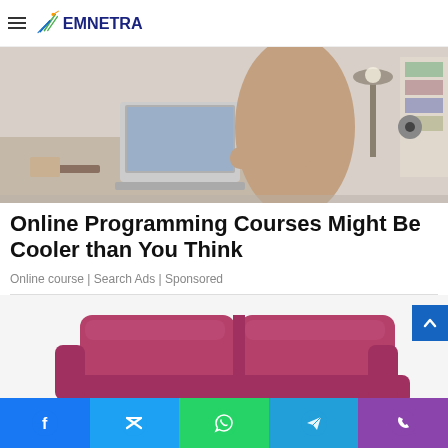EMNETRA
[Figure (photo): Person in beige outfit working at a laptop on a desk with lamp and various items]
Online Programming Courses Might Be Cooler than You Think
Online course | Search Ads | Sponsored
[Figure (photo): Pink/magenta sofa or couch partially visible]
[Figure (infographic): Social share bar with Facebook, Twitter, WhatsApp, Telegram, and Phone buttons]